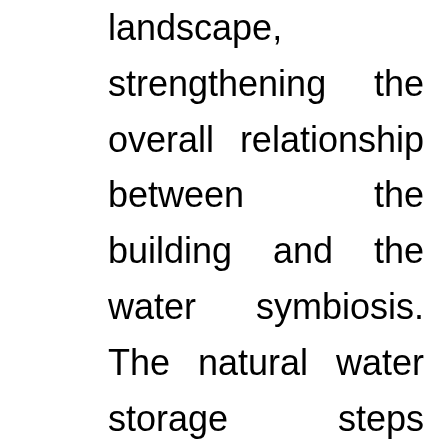landscape, strengthening the overall relationship between the building and the water symbiosis. The natural water storage steps weakens he height difference between the lake scene and the aisle and shows the rhythm and layering between the spaces.